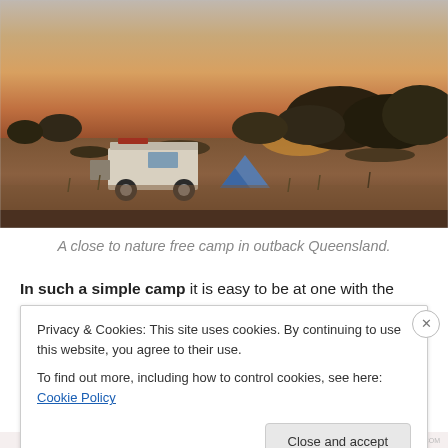[Figure (photo): A 4WD vehicle with roof rack parked in outback Australian scrubland at dusk/sunset, with a blue tent visible nearby and sparse trees silhouetted against an orange and pink sky. The ground is red dirt.]
A close to nature free camp in outback Queensland.
In such a simple camp it is easy to be at one with the
Privacy & Cookies: This site uses cookies. By continuing to use this website, you agree to their use.
To find out more, including how to control cookies, see here: Cookie Policy
Close and accept